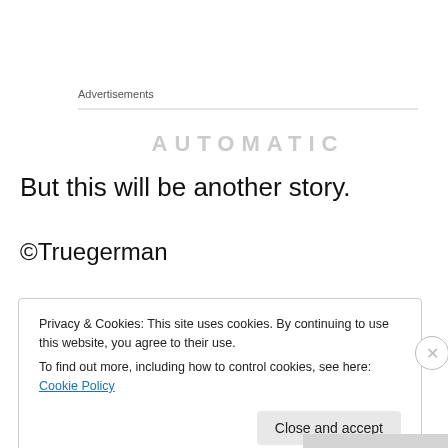Advertisements
[Figure (other): Partial advertisement banner with bold uppercase text (clipped), horizontal rule above]
But this will be another story.
©Truegerman
Privacy & Cookies: This site uses cookies. By continuing to use this website, you agree to their use.
To find out more, including how to control cookies, see here: Cookie Policy
Close and accept